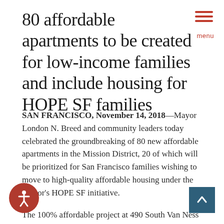80 affordable apartments to be created for low-income families and include housing for HOPE SF families
SAN FRANCISCO, November 14, 2018—Mayor London N. Breed and community leaders today celebrated the groundbreaking of 80 new affordable apartments in the Mission District, 20 of which will be prioritized for San Francisco families wishing to move to high-quality affordable housing under the Mayor's HOPE SF initiative.
The 100% affordable project at 490 South Van Ness will serve households with incomes between 30% and 60% of Area Median Income, approximately $35,500 to $71,000 for a family of four. Construction is expected to be